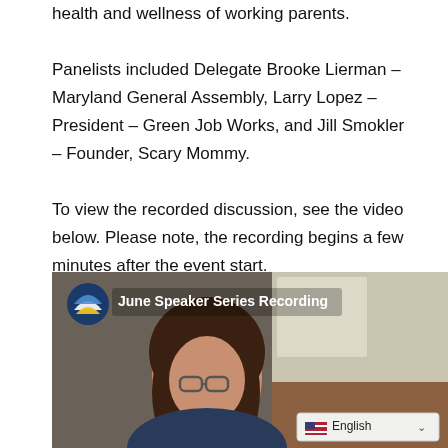health and wellness of working parents. Panelists included Delegate Brooke Lierman – Maryland General Assembly, Larry Lopez – President – Green Job Works, and Jill Smokler – Founder, Scary Mommy.
To view the recorded discussion, see the video below. Please note, the recording begins a few minutes after the event start.
[Figure (screenshot): Video thumbnail showing a woman with curly hair and glasses on a video call, with a circular logo and the text 'June Speaker Series Recording' overlaid at the top left. A language selector showing 'English' with a US flag is visible at the bottom right.]